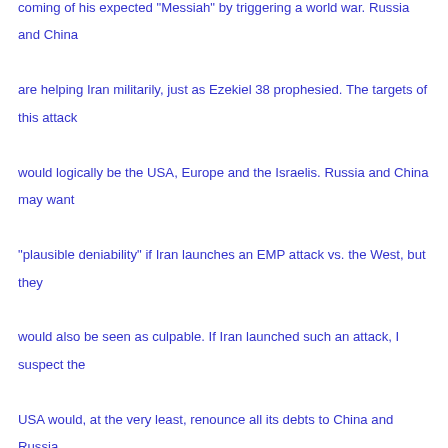coming of his expected 'Messiah' by triggering a world war. Russia and China are helping Iran militarily, just as Ezekiel 38 prophesied. The targets of this attack would logically be the USA, Europe and the Israelis. Russia and China may want "plausible deniability" if Iran launches an EMP attack vs. the West, but they would also be seen as culpable. If Iran launched such an attack, I suspect the USA would, at the very least, renounce all its debts to China and Russia because those nations furnished the technology for Iran's attack. You can see how this dangerous world situation is setting the stage for the eventual fulfillment of Ezekiel 38's prophecy of a global world war in the end-time (see also my article "What Ezekiel 38-39 Reveals about a Future World War III). If the next World War is begun by the detonation of EMP weapons around the world (a likelihood I have included in my writings for years), the vast majority of modern cars and vehicles will no longer work. The only cars that would work would be those that are older...